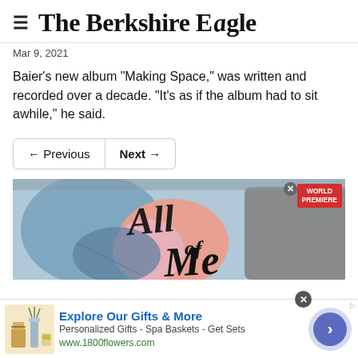The Berkshire Eagle
Mar 9, 2021
Baier's new album "Making Space," was written and recorded over a decade. "It's as if the album had to sit awhile," he said.
[Figure (screenshot): Navigation buttons: Previous and Next]
[Figure (illustration): Advertisement image showing illustrated figures with 'All of Me' text in script, with WORLD PREMIERE badge]
[Figure (infographic): Bottom advertisement for 1800flowers: Explore Our Gifts & More - Personalized Gifts - Spa Baskets - Get Sets - www.1800flowers.com]